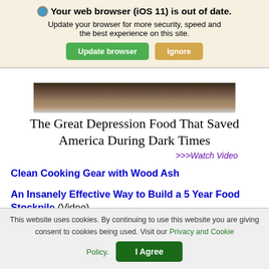Your web browser (iOS 11) is out of date. Update your browser for more security, speed and the best experience on this site.
[Figure (photo): Partial food image showing a dark pan with food, cropped at top]
The Great Depression Food That Saved America During Dark Times
>>>Watch Video
Clean Cooking Gear with Wood Ash
An Insanely Effective Way to Build a 5 Year Food Stockpile (Video)
Classified FEMA Report Confirms Preppers'
This website uses cookies. By continuing to use this website you are giving consent to cookies being used. Visit our Privacy and Cookie Policy. I Agree